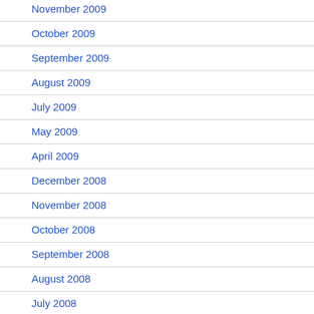November 2009
October 2009
September 2009
August 2009
July 2009
May 2009
April 2009
December 2008
November 2008
October 2008
September 2008
August 2008
July 2008